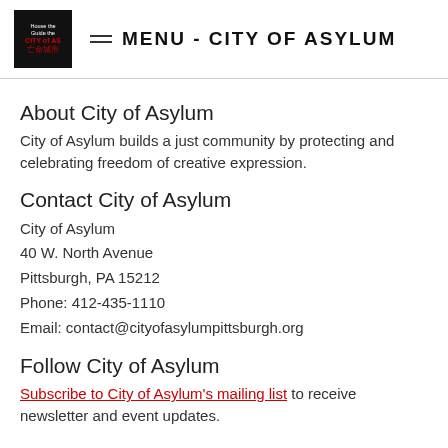MENU - CITY OF ASYLUM
About City of Asylum
City of Asylum builds a just community by protecting and celebrating freedom of creative expression.
Contact City of Asylum
City of Asylum
40 W. North Avenue
Pittsburgh, PA 15212
Phone: 412-435-1110
Email: contact@cityofasylumpittsburgh.org
Follow City of Asylum
Subscribe to City of Asylum's mailing list to receive newsletter and event updates.